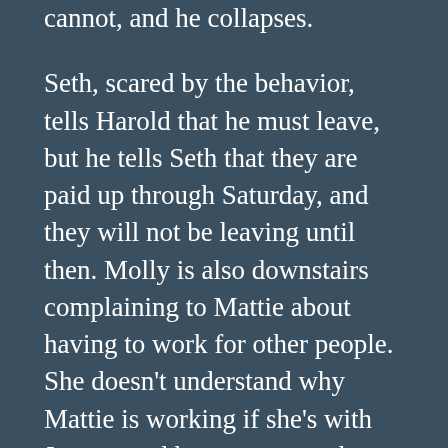cannot, and he collapses.
Seth, scared by the behavior, tells Harold that he must leave, but he tells Seth that they are paid up through Saturday, and they will not be leaving until then. Molly is also downstairs complaining to Mattie about having to work for other people. She doesn't understand why Mattie is working if she's with Jeremy and he can support her. As Mattie leaves, Jeremy enters, having lost his job for refusing to pay a white man what he asked. He is upset over the exploitation of not just himself but of all black workers, but Seth tells him that he needs to get over it and go back to work because he needs the money. Jeremy, not listening, grabs his guitar and says he will go on the road to